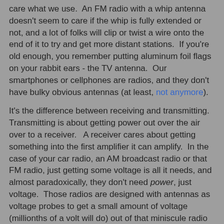care what we use.  An FM radio with a whip antenna doesn't seem to care if the whip is fully extended or not, and a lot of folks will clip or twist a wire onto the end of it to try and get more distant stations.  If you're old enough, you remember putting aluminum foil flags on your rabbit ears - the TV antenna.  Our smartphones or cellphones are radios, and they don't have bulky obvious antennas (at least, not anymore).
It's the difference between receiving and transmitting.  Transmitting is about getting power out over the air over to a receiver.   A receiver cares about getting something into the first amplifier it can amplify.  In the case of your car radio, an AM broadcast radio or that FM radio, just getting some voltage is all it needs, and almost paradoxically, they don't need power, just voltage.  Those radios are designed with antennas as voltage probes to get a small amount of voltage (millionths of a volt will do) out of that miniscule radio frequency power going by. To get the most power out of a transmitter, antennas need to have the same impedance the transmitter was designed for, and just about all transmitters are designed for 50 ohm antennas.